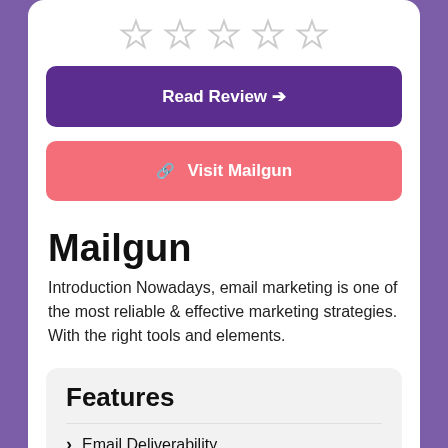[Figure (other): Five empty star rating icons in a row]
Read Review →
Visit Mailgun
Mailgun
Introduction Nowadays, email marketing is one of the most reliable & effective marketing strategies. With the right tools and elements.
Features
Email Deliverability
Email List Management
Interactive Inbound Routing